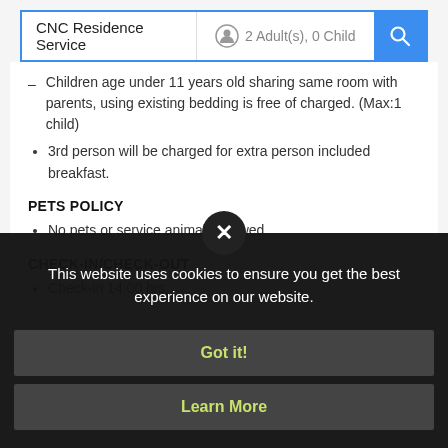[Figure (screenshot): Search bar with CNC Residence Service text, guest count showing 2 Adult(s), 0 Child, and a blue search button with magnifying glass icon]
Children age under 11 years old sharing same room with parents, using existing bedding is free of charged. (Max:1 child)
3rd person will be charged for extra person included breakfast.
PETS POLICY
No pets or service animals allowed.
CHECK-IN/CHECK-OUT
Check-in 14:00 hrs.
This website uses cookies to ensure you get the best experience on our website.
Got it!
Learn More